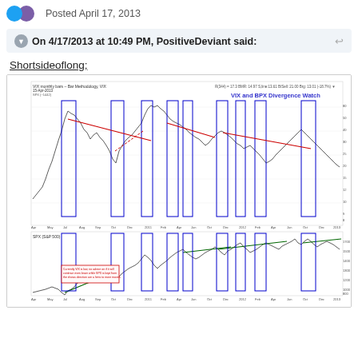Posted April 17, 2013
On 4/17/2013 at 10:49 PM, PositiveDeviant said:
Shortsideoflong;
[Figure (continuous-plot): VIX and SPX Divergence Watch chart — dual panel financial chart showing VIX (volatility index) on top panel and SPX (S&P 500) on bottom panel, spanning approximately 2007-2013. Blue vertical rectangles mark divergence periods. Red trend lines show declining highs in VIX. Green trend lines show rising lows in SPX. Title reads 'VIX and BPX Divergence Watch' in blue text. Small red annotation box in lower-left area of chart.]